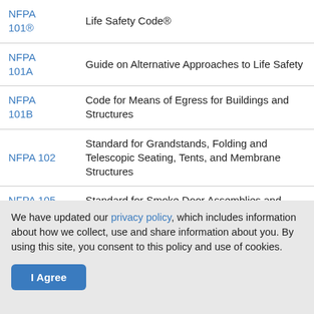| Code | Description |
| --- | --- |
| NFPA 101® | Life Safety Code® |
| NFPA 101A | Guide on Alternative Approaches to Life Safety |
| NFPA 101B | Code for Means of Egress for Buildings and Structures |
| NFPA 102 | Standard for Grandstands, Folding and Telescopic Seating, Tents, and Membrane Structures |
| NFPA 105 | Standard for Smoke Door Assemblies and... |
We have updated our privacy policy, which includes information about how we collect, use and share information about you. By using this site, you consent to this policy and use of cookies.
I Agree